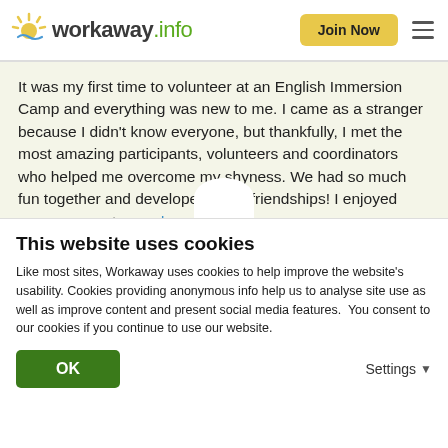workaway.info — Join Now
It was my first time to volunteer at an English Immersion Camp and everything was new to me. I came as a stranger because I didn't know everyone, but thankfully, I met the most amazing participants, volunteers and coordinators who helped me overcome my shyness. We had so much fun together and developed great friendships! I enjoyed every moment... read more
This website uses cookies
Like most sites, Workaway uses cookies to help improve the website's usability. Cookies providing anonymous info help us to analyse site use as well as improve content and present social media features.  You consent to our cookies if you continue to use our website.
OK   Settings